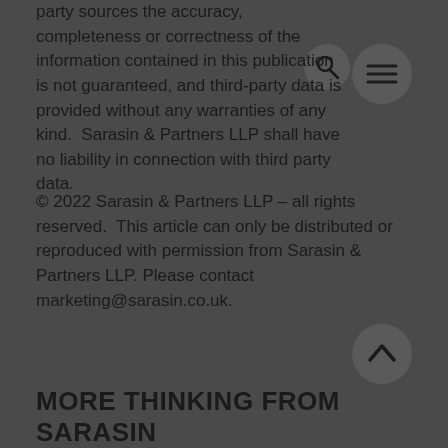party sources the accuracy, completeness or correctness of the information contained in this publication is not guaranteed, and third-party data is provided without any warranties of any kind.  Sarasin & Partners LLP shall have no liability in connection with third party data.
© 2022 Sarasin & Partners LLP – all rights reserved.  This article can only be distributed or reproduced with permission from Sarasin & Partners LLP. Please contact marketing@sarasin.co.uk.
MORE THINKING FROM SARASIN